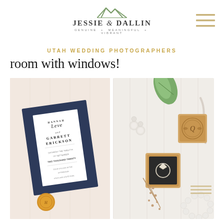[Figure (logo): Jessie & Dallin logo with mountain SVG icon above text. Text reads JESSIE & DALLIN with tagline GENUINE + MEANINGFUL + VIBRANT]
[Figure (illustration): Hamburger menu icon with three horizontal gold/tan lines in top right corner]
UTAH WEDDING PHOTOGRAPHERS
room with windows!
[Figure (photo): Two-panel photo collage. Left panel shows a navy blue wedding invitation with white card insert reading HANNAH LEVE and GARRETT ERICKSON, with a gold wax seal at bottom, on a blush pink background. Right panel shows a flat lay of wedding accessories: pearl earrings, a wooden ring box with engraved monogram containing a diamond engagement ring, another wooden box lid, dried floral sprigs, and a pearl bracelet on a white wood paneled background with a green leaf.]